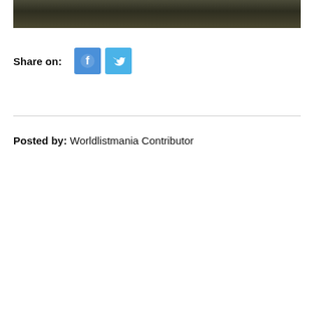[Figure (photo): Partial view of a dark, dense shrub or heather landscape photograph, showing only the bottom portion of the image]
Share on:
[Figure (logo): Facebook icon button (blue square with white 'f' logo)]
[Figure (logo): Twitter icon button (light blue square with white bird logo)]
Posted by: Worldlistmania Contributor